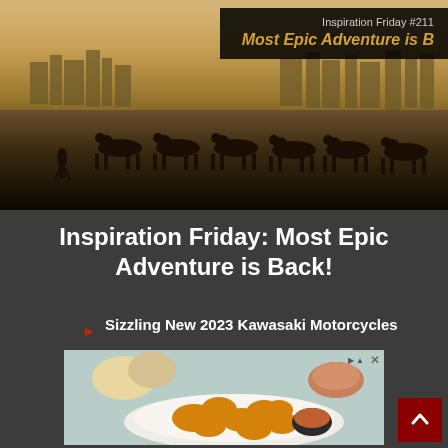[Figure (photo): Sepia-toned photo of a camel caravan crossing a desert with ancient city buildings in the background. A person walks beside a line of camels against the desert horizon.]
Inspiration Friday #211
Most Epic Adventure is B[ack!]
Inspiration Friday: Most Epic Adventure is Back!
Sizzling New 2023 Kawasaki Motorcycles
[Figure (photo): Advertisement image showing fried chicken nuggets on a white plate with a dipping sauce, alongside dinner rolls, on a light blue background.]